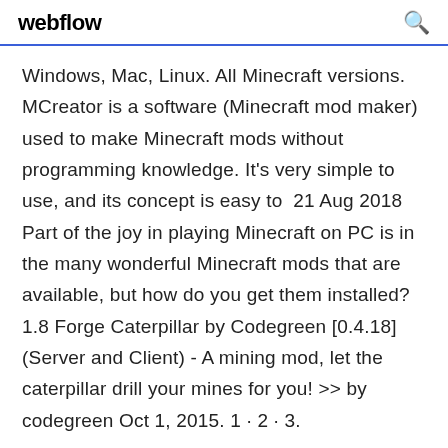webflow
Windows, Mac, Linux. All Minecraft versions. MCreator is a software (Minecraft mod maker) used to make Minecraft mods without programming knowledge. It's very simple to use, and its concept is easy to  21 Aug 2018 Part of the joy in playing Minecraft on PC is in the many wonderful Minecraft mods that are available, but how do you get them installed? 1.8 Forge Caterpillar by Codegreen [0.4.18] (Server and Client) - A mining mod, let the caterpillar drill your mines for you! >> by codegreen Oct 1, 2015. 1 · 2 · 3.